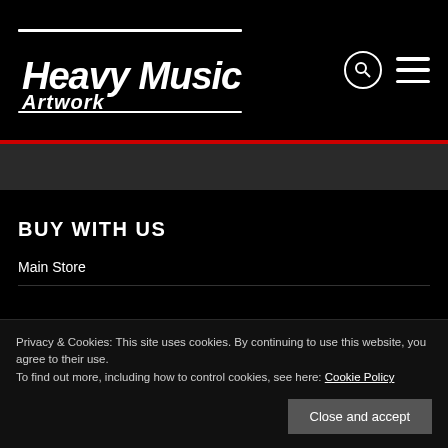Heavy Music Artwork
BUY WITH US
Main Store
Privacy & Cookies: This site uses cookies. By continuing to use this website, you agree to their use. To find out more, including how to control cookies, see here: Cookie Policy
Close and accept